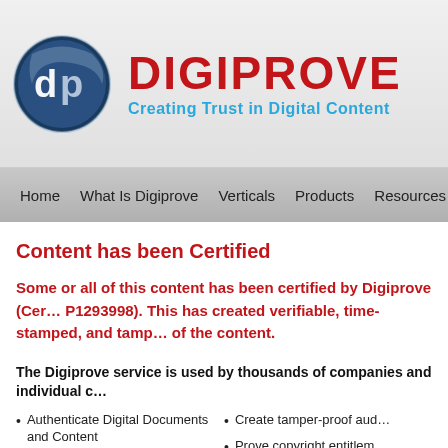[Figure (logo): Digiprove circular logo with 'dp' letters in blue/silver circle, and brand name DIGIPROVE in red bold text with tagline 'Creating Trust in Digital Content' in blue]
Home  What Is Digiprove  Verticals  Products  Resources  Pricing
Content has been Certified
Some or all of this content has been certified by Digiprove (Certificate number P1293998). This has created verifiable, time-stamped, and tamper-proof records of the content.
The Digiprove service is used by thousands of companies and individual
Authenticate Digital Documents and Content
Prove compliance
Prove data integrity
Protect legal position
Create tamper-proof aud
Prove copyright entitlem
Prove ownership of intel